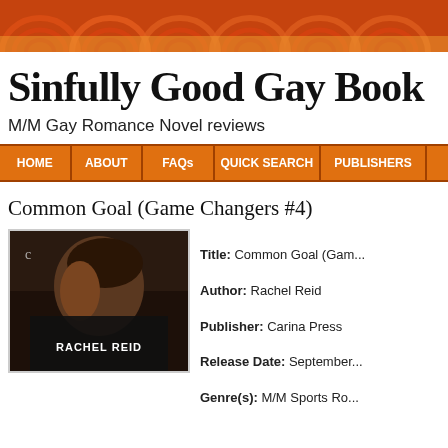[Figure (illustration): Orange swirl decorative banner header]
Sinfully Good Gay Book
M/M Gay Romance Novel reviews
HOME | ABOUT | FAQs | QUICK SEARCH | PUBLISHERS
Common Goal (Game Changers #4)
[Figure (photo): Book cover for Common Goal by Rachel Reid showing a man with beard and dark hair]
Title: Common Goal (Gam...
Author: Rachel Reid
Publisher: Carina Press
Release Date: September...
Genre(s): M/M Sports Ro...